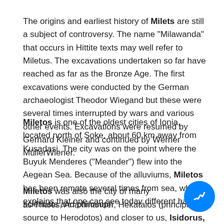The origins and earliest history of Milets are still a subject of controversy. The name "Milawanda" that occurs in Hittite texts may well refer to Miletus. The excavations undertaken so far have reached as far as the Bronze Age. The first excavations were conducted by the German archaeologist Theodor Wiegand but these were several times interrupted by wars and various other events. Excavations were resumed by Gerhard Kleiner and continued by Werner MüllerWiener.
Miletos is one of the oldest cities of Ionia, located north of Soke, about 60 km away from Kusadasi. The city was on the point where the Buyuk Menderes ("Meander") flew into the Aegean Sea. Because of the alluviums, Miletos has been remote several times from sea, which explains that one can see today different harbors.
Miletos was also the city of many scientists and philosophers as Thales, Anaximander, Hekataios (principle source to Herodotos) and closer to us, Isidorus, the architect of Hagia Sophia in